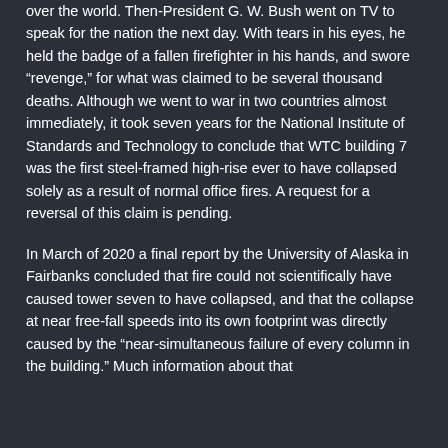over the world. Then-President G. W. Bush went on TV to speak for the nation the next day. With tears in his eyes, he held the badge of a fallen firefighter in his hands, and swore “revenge,” for what was claimed to be several thousand deaths. Although we went to war in two countries almost immediately, it took seven years for the National Institute of Standards and Technology to conclude that WTC building 7 was the first steel-framed high-rise ever to have collapsed solely as a result of normal office fires. A request for a reversal of this claim is pending.
In March of 2020 a final report by the University of Alaska in Fairbanks concluded that fire could not scientifically have caused tower seven to have collapsed, and that the collapse at near free-fall speeds into its own footprint was directly caused by the “near-simultaneous failure of every column in the building.” Much information about that